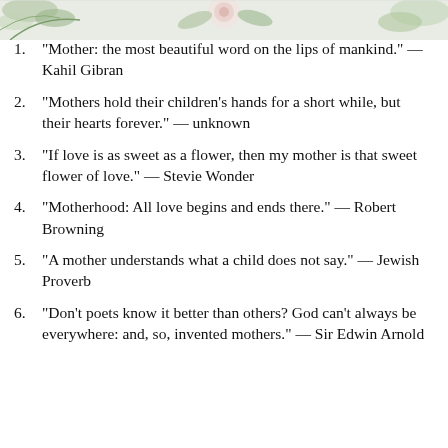[Figure (photo): Decorative floral photo strip at the top of the page showing flowers and leaves (roses, eucalyptus) cropped to a narrow horizontal band.]
“Mother: the most beautiful word on the lips of mankind.” — Kahil Gibran
“Mothers hold their children’s hands for a short while, but their hearts forever.” — unknown
“If love is as sweet as a flower, then my mother is that sweet flower of love.” — Stevie Wonder
“Motherhood: All love begins and ends there.” — Robert Browning
“A mother understands what a child does not say.” — Jewish Proverb
“Don’t poets know it better than others? God can’t always be everywhere: and, so, invented mothers.” — Sir Edwin Arnold